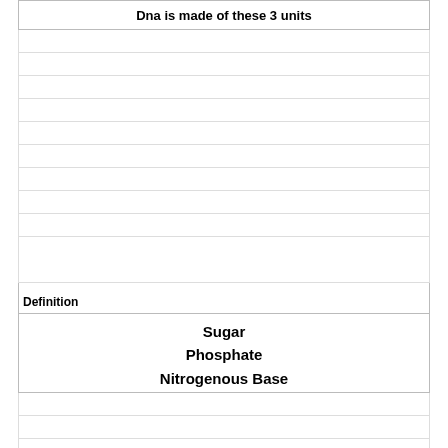Dna is made of these 3 units
Definition
Sugar
Phosphate
Nitrogenous Base
Term